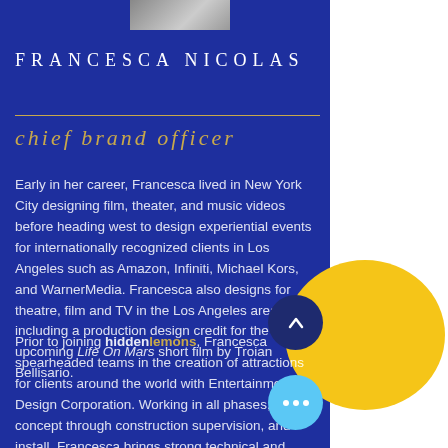[Figure (photo): Partial photo of Francesca Nicolas at the top]
FRANCESCA NICOLAS
chief brand officer
Early in her career, Francesca lived in New York City designing film, theater, and music videos before heading west to design experiential events for internationally recognized clients in Los Angeles such as Amazon, Infiniti, Michael Kors, and WarnerMedia. Francesca also designs for theatre, film and TV in the Los Angeles area, including a production design credit for the upcoming Life On Mars short film by Troian Bellisario.
Prior to joining hiddenlemons, Francesca spearheaded teams in the creation of attractions for clients around the world with Entertainment Design Corporation. Working in all phases, from concept through construction supervision, and install, Francesca brings strong technical and branding skills, creative ingenuity, and a diverse set of experiences to contribute to